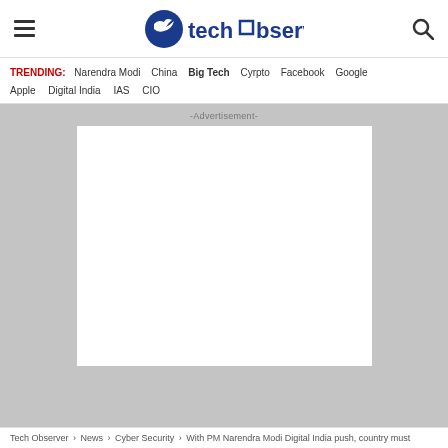techobserver. [logo with hamburger menu and search icon]
TRENDING: Narendra Modi  China  Big Tech  Cyrpto  Facebook  Google  Apple  Digital India  IAS  CIO
[Figure (other): Advertisement placeholder — white rectangle on gray background with -Advertisement- label]
Tech Observer › News › Cyber Security › With PM Narendra Modi Digital India push, country must